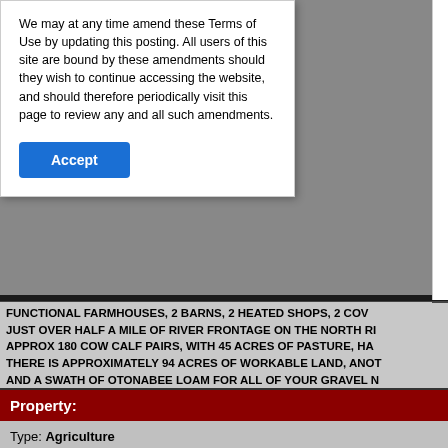We may at any time amend these Terms of Use by updating this posting. All users of this site are bound by these amendments should they wish to continue accessing the website, and should therefore periodically visit this page to review any and all such amendments.
Accept
FUNCTIONAL FARMHOUSES, 2 BARNS, 2 HEATED SHOPS, 2 COV... JUST OVER HALF A MILE OF RIVER FRONTAGE ON THE NORTH RI... APPROX 180 COW CALF PAIRS, WITH 45 ACRES OF PASTURE, HA... THERE IS APPROXIMATELY 94 ACRES OF WORKABLE LAND, ANOT... AND A SWATH OF OTONABEE LOAM FOR ALL OF YOUR GRAVEL N... FARMING OPERATION, OR START YOUR OWN, THIS FARM IS SETU...
| Property: |
| --- |
| Type: | Agriculture |
| Acreage: | 101+ acres |
| Waterfront Type: | Waterfront on river |
| Sewer: | Septic System | Water: | Drill... |
| Access: | Road access |
| Structures: | Drive Shed, Barn |
| Parking Type: | Detached Garage |
Structure: